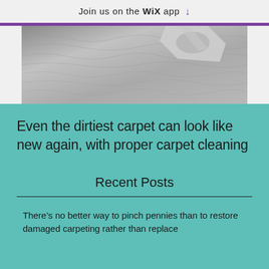Join us on the WiX app ↓
[Figure (photo): Partial photo of a carpet being cleaned with a cleaning machine, showing dirty and clean carpet side by side]
Even the dirtiest carpet can look like new again, with proper carpet cleaning
Recent Posts
There's no better way to pinch pennies than to restore damaged carpeting rather than replace